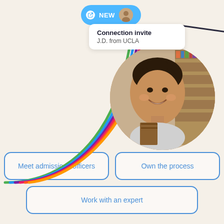[Figure (infographic): UI badge showing 'NEW' in blue pill shape with link icon and small avatar, plus tooltip card reading 'Connection invite / J.D. from UCLA', a dark diagonal line, a rainbow curved line, and a circular profile photo of a smiling young woman in a library holding books]
Meet admissions officers
Own the process
Work with an expert